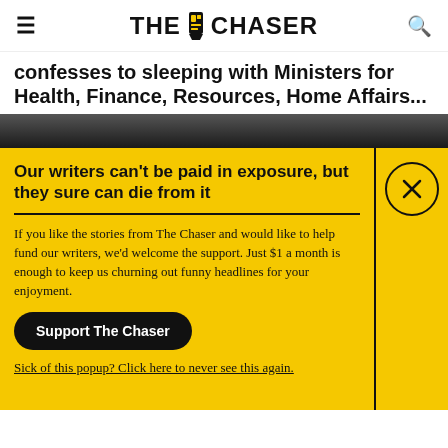THE CHASER
confesses to sleeping with Ministers for Health, Finance, Resources, Home Affairs...
[Figure (photo): Dark background image strip, partially visible beneath popup]
Our writers can't be paid in exposure, but they sure can die from it
If you like the stories from The Chaser and would like to help fund our writers, we'd welcome the support. Just $1 a month is enough to keep us churning out funny headlines for your enjoyment.
Support The Chaser
Sick of this popup? Click here to never see this again.